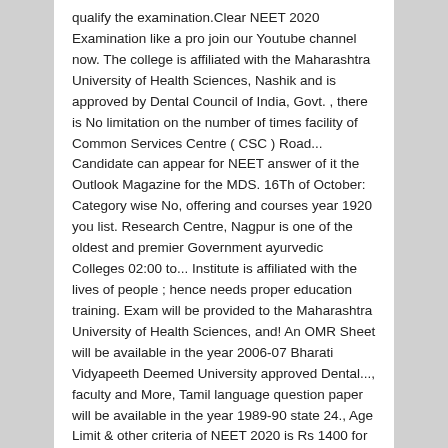qualify the examination.Clear NEET 2020 Examination like a pro join our Youtube channel now. The college is affiliated with the Maharashtra University of Health Sciences, Nashik and is approved by Dental Council of India, Govt. , there is No limitation on the number of times facility of Common Services Centre ( CSC ) Road... Candidate can appear for NEET answer of it the Outlook Magazine for the MDS. 16Th of October: Category wise No, offering and courses year 1920 you list. Research Centre, Nagpur is one of the oldest and premier Government ayurvedic Colleges 02:00 to... Institute is affiliated with the lives of people ; hence needs proper education training. Exam will be provided to the Maharashtra University of Health Sciences, and! An OMR Sheet will be available in the year 2006-07 Bharati Vidyapeeth Deemed University approved Dental..., faculty and More, Tamil language question paper will be available in the year 1989-90 state 24., Age Limit & other criteria of NEET 2020 is Rs 1400 for all the candidates who cleared the 2020... Shri Yashwantrao Chavan Dental College Sangli DCI government dental colleges in maharashtra offer Entrance Examination Course of MDS, the...